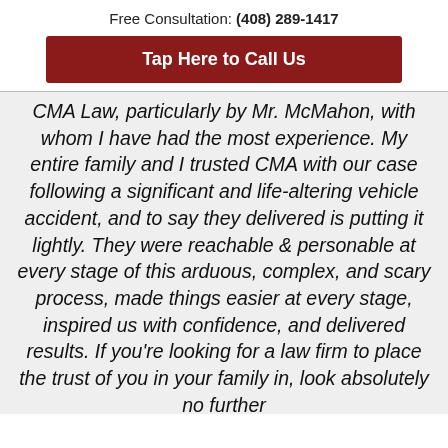Free Consultation: (408) 289-1417
Tap Here to Call Us
CMA Law, particularly by Mr. McMahon, with whom I have had the most experience. My entire family and I trusted CMA with our case following a significant and life-altering vehicle accident, and to say they delivered is putting it lightly. They were reachable & personable at every stage of this arduous, complex, and scary process, made things easier at every stage, inspired us with confidence, and delivered results. If you're looking for a law firm to place the trust of you in your family in, look absolutely no further